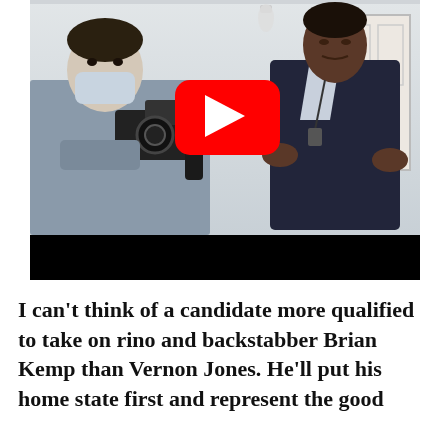[Figure (photo): YouTube video thumbnail showing a man in a dark suit (Vernon Jones) being interviewed by media personnel with cameras and microphones, in a white-walled room. A large red YouTube play button is overlaid in the center. A black bar appears at the bottom of the video frame.]
I can't think of a candidate more qualified to take on rino and backstabber Brian Kemp than Vernon Jones. He'll put his home state first and represent the good